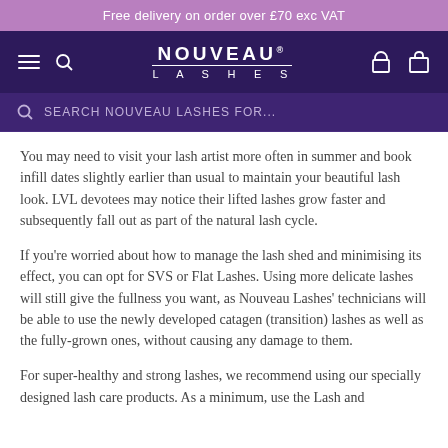Free delivery on order over £70 exc VAT
[Figure (screenshot): Nouveau Lashes website navigation bar with hamburger menu, search icon, brand logo, account icon, and cart icon on dark purple background]
[Figure (screenshot): Search bar with placeholder text 'SEARCH NOUVEAU LASHES FOR...' on dark purple background]
You may need to visit your lash artist more often in summer and book infill dates slightly earlier than usual to maintain your beautiful lash look. LVL devotees may notice their lifted lashes grow faster and subsequently fall out as part of the natural lash cycle.
If you're worried about how to manage the lash shed and minimising its effect, you can opt for SVS or Flat Lashes. Using more delicate lashes will still give the fullness you want, as Nouveau Lashes' technicians will be able to use the newly developed catagen (transition) lashes as well as the fully-grown ones, without causing any damage to them.
For super-healthy and strong lashes, we recommend using our specially designed lash care products. As a minimum, use the Lash and